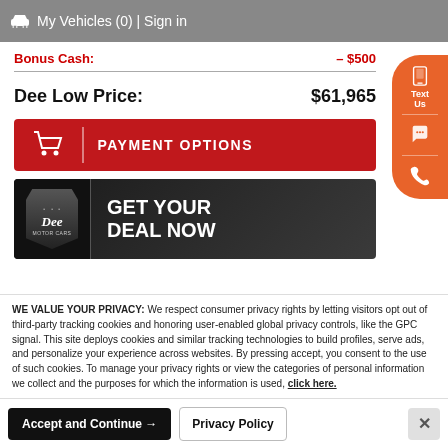My Vehicles (0) | Sign in
Bonus Cash: – $500
Dee Low Price: $61,965
[Figure (other): Red PAYMENT OPTIONS button with shopping cart icon]
[Figure (other): Dee dealership Get Your Deal Now dark banner]
[Figure (other): Orange floating side buttons: Text Us, chat, phone]
WE VALUE YOUR PRIVACY: We respect consumer privacy rights by letting visitors opt out of third-party tracking cookies and honoring user-enabled global privacy controls, like the GPC signal. This site deploys cookies and similar tracking technologies to build profiles, serve ads, and personalize your experience across websites. By pressing accept, you consent to the use of such cookies. To manage your privacy rights or view the categories of personal information we collect and the purposes for which the information is used, click here.
Language: English ∨    Powered by ComplyAuto
Accept and Continue →    Privacy Policy    ×